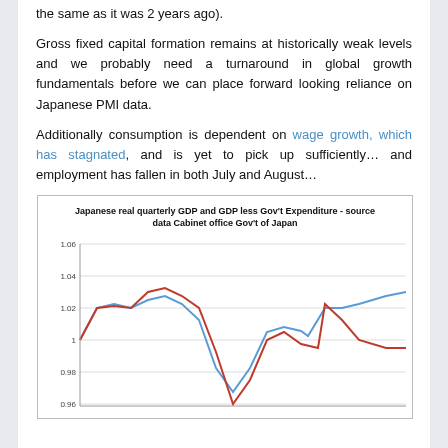the same as it was 2 years ago).
Gross fixed capital formation remains at historically weak levels and we probably need a turnaround in global growth fundamentals before we can place forward looking reliance on Japanese PMI data.
Additionally consumption is dependent on wage growth, which has stagnated, and is yet to pick up sufficiently… and employment has fallen in both July and August…
[Figure (line-chart): Two-line chart showing Japanese real quarterly GDP (blue) and GDP less Gov't Expenditure (red) over time. Y-axis ranges from approximately 0.96 to 1.06. Both lines start near 1.00, rise to peaks around 1.02-1.045, then fall sharply before recovering.]